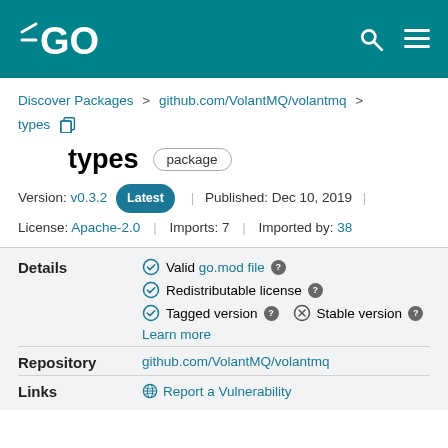GO (logo header)
Discover Packages > github.com/VolantMQ/volantmq > types
types  package
Version: v0.3.2 Latest | Published: Dec 10, 2019 | License: Apache-2.0 | Imports: 7 | Imported by: 38
Details
Valid go.mod file  Redistributable license  Tagged version  Stable version  Learn more
Repository
github.com/VolantMQ/volantmq
Links
Report a Vulnerability